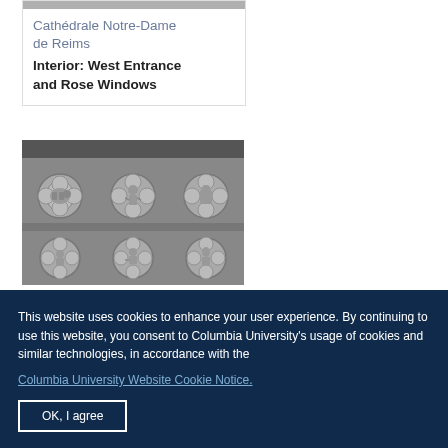Cathédrale Notre-Dame de Reims
Interior: West Entrance and Rose Windows
[Figure (photo): Black and white photograph of ornate Gothic stone relief carvings on the interior of Cathédrale Notre-Dame de Reims, showing quatrefoil medallions with figures of animals and saints in two rows.]
This website uses cookies to enhance your user experience. By continuing to use this website, you consent to Columbia University's usage of cookies and similar technologies, in accordance with the Columbia University Website Cookie Notice.
OK, I agree